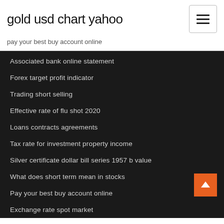gold usd chart yahoo
pay your best buy account online
Associated bank online statement
Forex target profit indicator
Trading short selling
Effective rate of flu shot 2020
Loans contracts agreements
Tax rate for investment property income
Silver certificate dollar bill series 1957 b value
What does short term mean in stocks
Pay your best buy account online
Exchange rate spot market